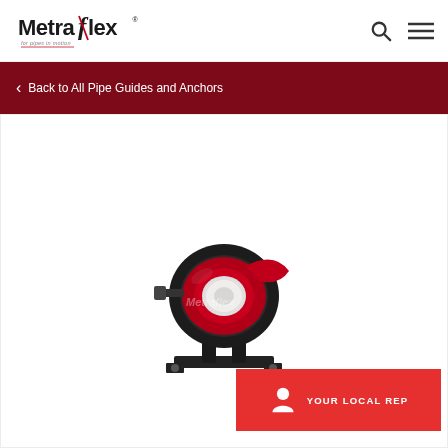Metraflex - for pipes in motion
Back to All Pipe Guides and Anchors
[Figure (photo): Metraflex pipe guide/anchor product photo showing a black and red metal pipe guide assembly with a white cylindrical element, mounted on a bracket, with Metraflex watermark overlay]
YOUR LOCAL REP